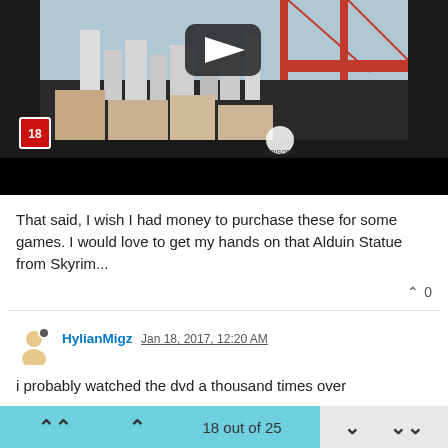[Figure (screenshot): YouTube video thumbnail showing a city scene with a red bridge, buildings, an age rating badge '18', and a Ubisoft logo. A large play button is visible at the top center.]
That said, I wish I had money to purchase these for some games. I would love to get my hands on that Alduin Statue from Skyrim...
HylianMigz Jan 18, 2017, 12:20 AM
i probably watched the dvd a thousand times over
18 out of 25